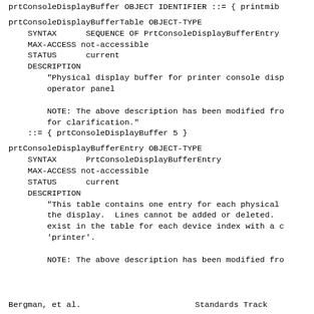prtConsoleDisplayBuffer OBJECT IDENTIFIER ::= { printmib
prtConsoleDisplayBufferTable OBJECT-TYPE
    SYNTAX      SEQUENCE OF PrtConsoleDisplayBufferEntry
    MAX-ACCESS not-accessible
    STATUS      current
    DESCRIPTION
        "Physical display buffer for printer console disp
        operator panel

        NOTE: The above description has been modified fro
        for clarification."
    ::= { prtConsoleDisplayBuffer 5 }
prtConsoleDisplayBufferEntry OBJECT-TYPE
    SYNTAX      PrtConsoleDisplayBufferEntry
    MAX-ACCESS not-accessible
    STATUS      current
    DESCRIPTION
        "This table contains one entry for each physical
        the display.  Lines cannot be added or deleted.
        exist in the table for each device index with a c
        'printer'.

        NOTE: The above description has been modified fro
Bergman, et al.                Standards Track